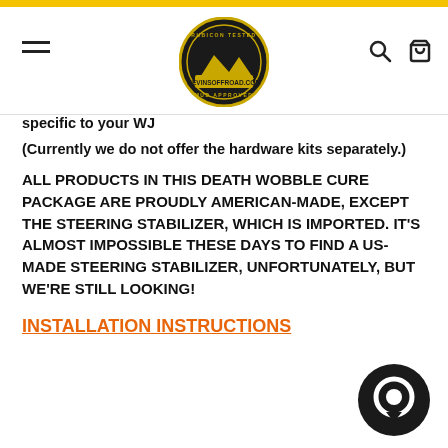KevinsOffRoad.com navigation header
specific to your WJ
(Currently we do not offer the hardware kits separately.)
ALL PRODUCTS IN THIS DEATH WOBBLE CURE PACKAGE ARE PROUDLY AMERICAN-MADE, EXCEPT THE STEERING STABILIZER, WHICH IS IMPORTED. IT'S ALMOST IMPOSSIBLE THESE DAYS TO FIND A US-MADE STEERING STABILIZER, UNFORTUNATELY, BUT WE'RE STILL LOOKING!
INSTALLATION INSTRUCTIONS